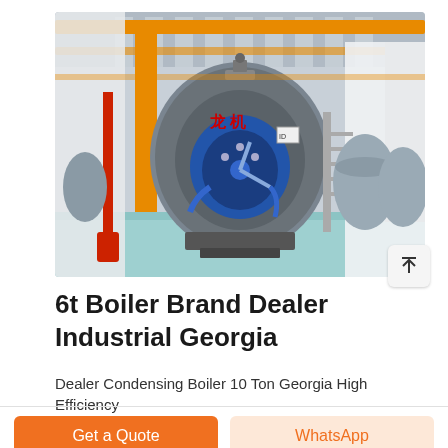[Figure (photo): Industrial boiler facility interior showing a large horizontal cylindrical boiler with blue motor assembly, yellow overhead pipes/cranes, red vertical pipes, and gray cylindrical tanks in the background on a light blue floor.]
6t Boiler Brand Dealer Industrial Georgia
Dealer Condensing Boiler 10 Ton Georgia High Efficiency